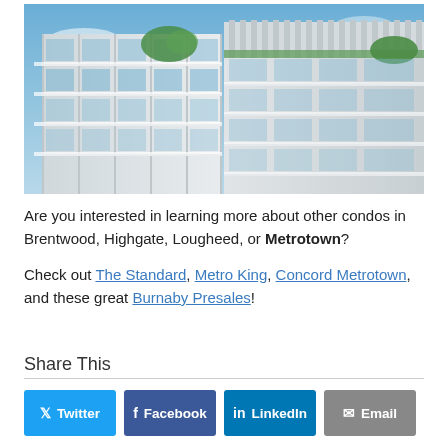[Figure (photo): Architectural rendering of a modern white condominium building with glass balconies and a rooftop terrace, against a blue sky with clouds.]
Are you interested in learning more about other condos in Brentwood, Highgate, Lougheed, or Metrotown?
Check out The Standard, Metro King, Concord Metrotown, and these great Burnaby Presales!
Share This
Twitter | Facebook | LinkedIn | Email